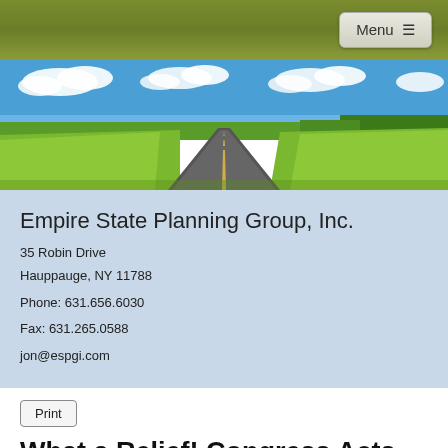Menu ≡
[Figure (photo): Landscape photo showing a straight road vanishing into the distance, flanked by green fields under a blue sky with white clouds.]
Empire State Planning Group, Inc.
35 Robin Drive
Hauppauge, NY 11788
Phone: 631.656.6030
Fax: 631.265.0588
jon@espgi.com
Print
What a Relief! Congress Acts Against Surprise Medical Bills